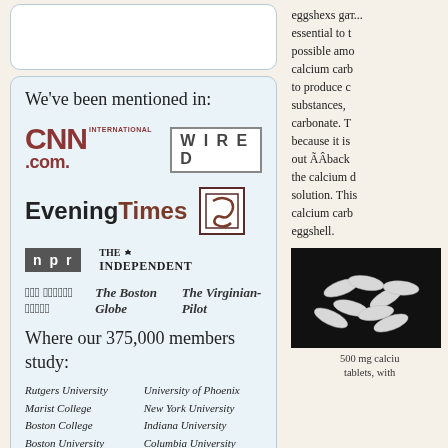We've been mentioned in:
[Figure (logo): Media logos: CNN International, WIRED, EveningTimes, Scribd, NPR, The Independent, The Boston Globe, The Virginian-Pilot]
Where our 375,000 members study:
Rutgers University
University of Phoenix
Marist College
New York University
Boston College
Indiana University
Boston University
Columbia University
University of Colorado
Miami Dade College
essential to the possible amount calcium carb to produce c substances, carbonate. T because it is out ÃÂback the calcium d solution. Thi calcium carb eggshell.
[Figure (photo): 500 mg calcium tablets, white pills on dark background]
500 mg calciu tablets, with